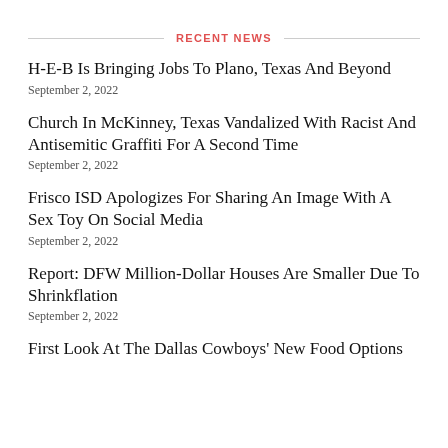RECENT NEWS
H-E-B Is Bringing Jobs To Plano, Texas And Beyond
September 2, 2022
Church In McKinney, Texas Vandalized With Racist And Antisemitic Graffiti For A Second Time
September 2, 2022
Frisco ISD Apologizes For Sharing An Image With A Sex Toy On Social Media
September 2, 2022
Report: DFW Million-Dollar Houses Are Smaller Due To Shrinkflation
September 2, 2022
First Look At The Dallas Cowboys' New Food Options